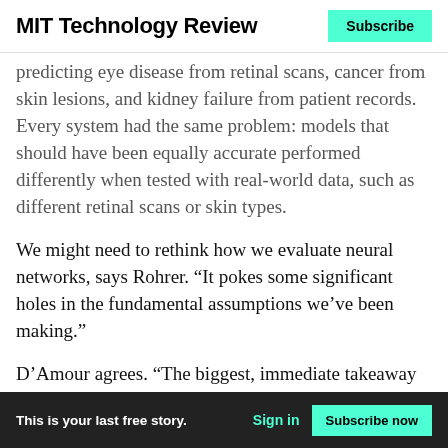MIT Technology Review | Subscribe
predicting eye disease from retinal scans, cancer from skin lesions, and kidney failure from patient records. Every system had the same problem: models that should have been equally accurate performed differently when tested with real-world data, such as different retinal scans or skin types.
We might need to rethink how we evaluate neural networks, says Rohrer. “It pokes some significant holes in the fundamental assumptions we’ve been making.”
D’Amour agrees. “The biggest, immediate takeaway is that we need to be doing a lot more testing,” he says.
This is your last free story. | Sign in | Subscribe now